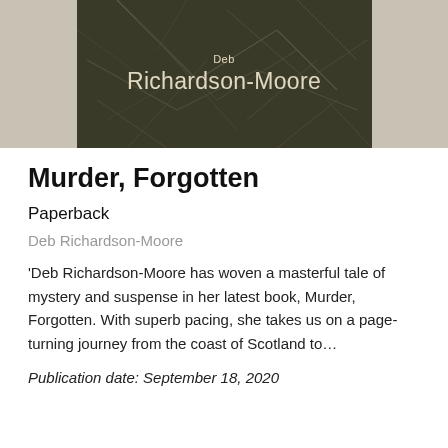[Figure (photo): Book cover image for 'Murder, Forgotten' by Deb Richardson-Moore. Dark background with tangled branches/twigs texture. Author name displayed in light cream text.]
Murder, Forgotten
Paperback
Deb Richardson-Moore
'Deb Richardson-Moore has woven a masterful tale of mystery and suspense in her latest book, Murder, Forgotten. With superb pacing, she takes us on a page-turning journey from the coast of Scotland to…
Publication date: September 18, 2020